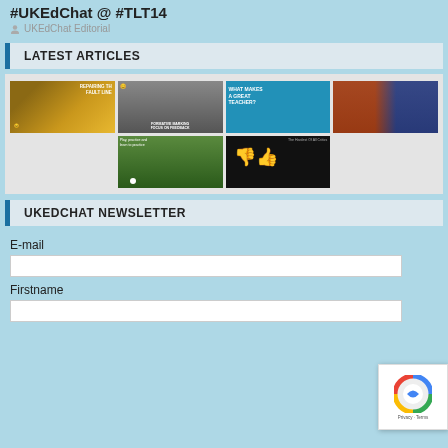#UKEdChat @ #TLT14
UKEdChat Editorial
LATEST ARTICLES
[Figure (photo): Grid of 6 article thumbnail images: repairing fault lines book cover, man hiding behind papers with 'formative marking focus on feedback', what makes a great teacher with woman, crowd/sports photo, football/soccer photo, thumbs up/down graphic]
UKEDCHAT NEWSLETTER
E-mail
Firstname
[Figure (other): reCAPTCHA badge with Privacy - Terms text]